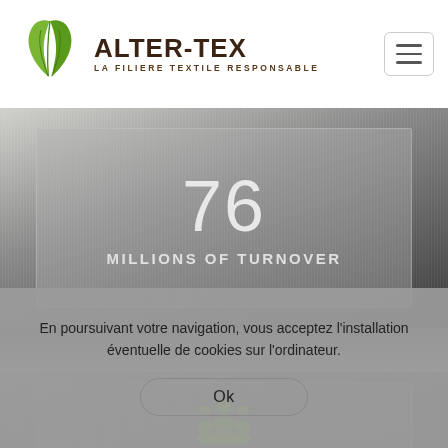[Figure (logo): ALTER-TEX logo with green leaf icon and text 'LA FILIERE TEXTILE RESPONSABLE']
76
MILLIONS OF TURNOVER
[Figure (illustration): Green group of people / community icon]
394
En poursuivant votre navigation, vous acceptez l'installation éventuelle de cookies sur l'ordinateur.
Ok